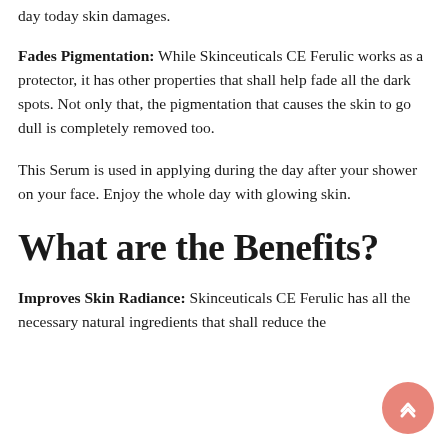day today skin damages.
Fades Pigmentation: While Skinceuticals CE Ferulic works as a protector, it has other properties that shall help fade all the dark spots. Not only that, the pigmentation that causes the skin to go dull is completely removed too.
This Serum is used in applying during the day after your shower on your face. Enjoy the whole day with glowing skin.
What are the Benefits?
Improves Skin Radiance: Skinceuticals CE Ferulic has all the necessary natural ingredients that shall reduce the